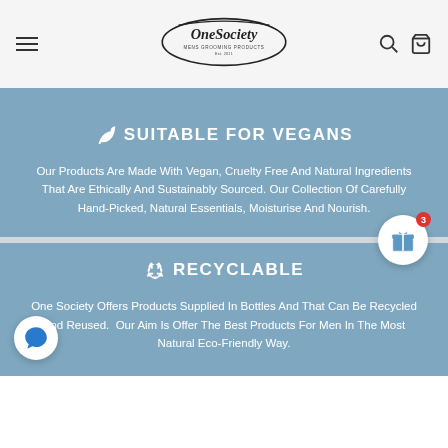OneSociety Mens Grooming Products
🌿 SUITABLE FOR VEGANS
Our Products Are Made With Vegan, Cruelty Free And Natural Ingredients That Are Ethically And Sustainably Sourced. Our Collection Of Carefully Hand-Picked, Natural Essentials, Moisturise And Nourish.
♻ RECYCLABLE
One Society Offers Products Supplied In Bottles And That Can Be Recycled And Reused.  Our Aim Is Offer The Best Products For Men In The Most Natural Eco-Friendly Way.